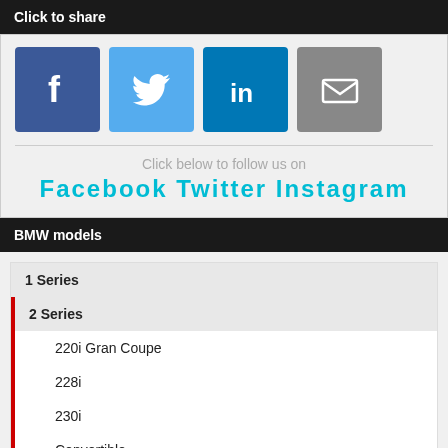Click to share
[Figure (infographic): Social share buttons: Facebook (blue), Twitter (light blue), LinkedIn (dark blue), Email (gray)]
Click below to follow us on
Facebook  Twitter  Instagram
BMW models
1 Series
2 Series
220i Gran Coupe
228i
230i
Convertible
Coupe
Gran Coupe